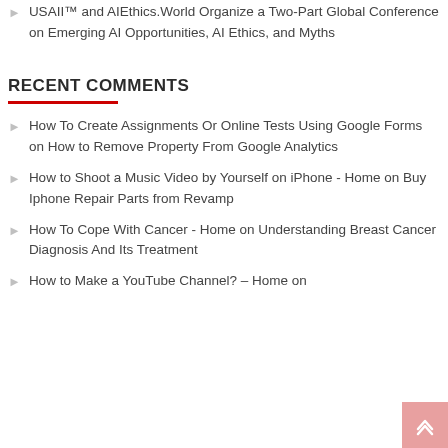USAII™ and AIEthics.World Organize a Two-Part Global Conference on Emerging AI Opportunities, AI Ethics, and Myths
RECENT COMMENTS
How To Create Assignments Or Online Tests Using Google Forms on How to Remove Property From Google Analytics
How to Shoot a Music Video by Yourself on iPhone - Home on Buy Iphone Repair Parts from Revamp
How To Cope With Cancer - Home on Understanding Breast Cancer Diagnosis And Its Treatment
How to Make a YouTube Channel? – Home on